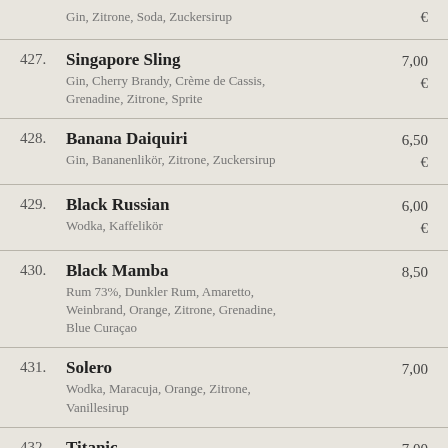Gin, Zitrone, Soda, Zuckersirup — €
427. Singapore Sling — 7,00 € — Gin, Cherry Brandy, Crème de Cassis, Grenadine, Zitrone, Sprite
428. Banana Daiquiri — 6,50 € — Gin, Bananenlikör, Zitrone, Zuckersirup
429. Black Russian — 6,00 € — Wodka, Kaffelikör
430. Black Mamba — 8,50 — Rum 73%, Dunkler Rum, Amaretto, Weinbrand, Orange, Zitrone, Grenadine, Blue Curaçao
431. Solero — 7,00 — Wodka, Maracuja, Orange, Zitrone, Vanillesirup
432. Titanic — 7,00 — Pepino Peach, Havana Club, Dunkler Rum, Orange, Ananas, Zitrone,